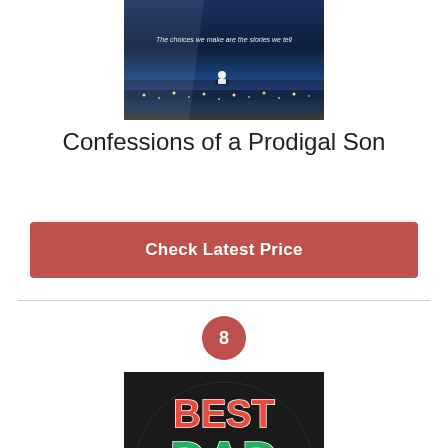[Figure (photo): Movie cover for 'Confessions of a Prodigal Son' showing a person sitting under bright lights with tagline 'The choices we make are the stories we tell']
Confessions of a Prodigal Son
Check Latest Price
8
[Figure (photo): Book or product cover with colorful decorated letters spelling 'BEST DAD EVER' on a dark background with mandala patterns]